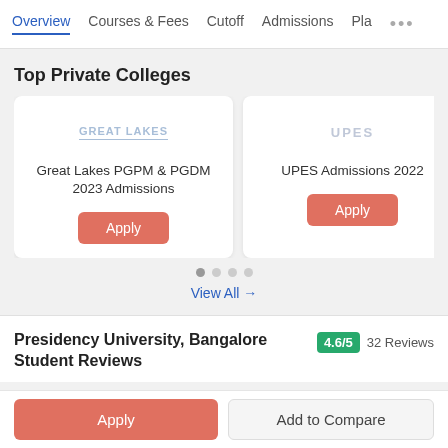Overview | Courses & Fees | Cutoff | Admissions | Pla...
Top Private Colleges
[Figure (screenshot): Card for Great Lakes PGPM & PGDM 2023 Admissions with Apply button]
[Figure (screenshot): Card for UPES Admissions 2022 with Apply button]
[Figure (screenshot): Partially visible card: SKVM Ad...]
View All →
Presidency University, Bangalore Student Reviews
4.6/5  32 Reviews
Apply | Add to Compare